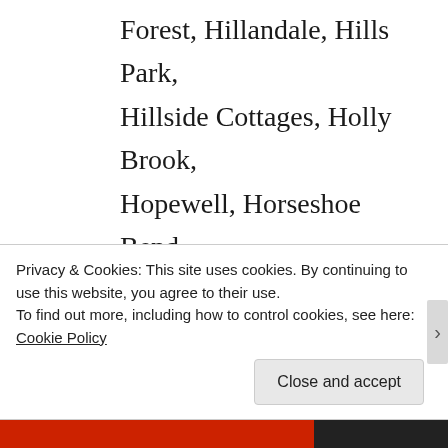Forest, Hillandale, Hills Park, Hillside Cottages, Holly Brook, Hopewell, Horseshoe Bend, Idlewood Vally, Jamestown Court, Jamestowne, Joel Chandler Harris Homes, Kimberly, Knox Landing, Lake Island Estates, Lake Union Hill, Lake Villas, Laurel Brook, Laurel Grove, Laurel Woods, Lenox Park, Lester, Limetree,
Privacy & Cookies: This site uses cookies. By continuing to use this website, you agree to their use.
To find out more, including how to control cookies, see here: Cookie Policy